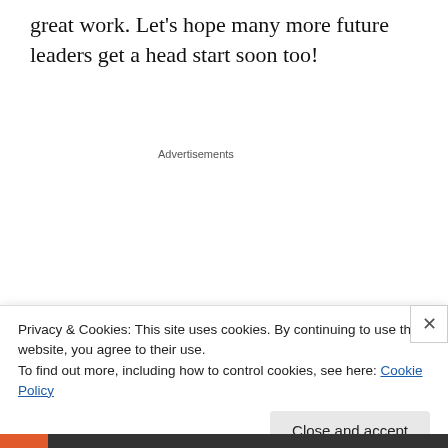great work. Let's hope many more future leaders get a head start soon too!
Advertisements
[Figure (illustration): Sensei advertisement with dark navy background showing Sensei logo (bonsai tree in white circle), brand name 'sensei', headline 'Launch your online course with WordPress' in teal, and a teal 'Learn More' button]
Privacy & Cookies: This site uses cookies. By continuing to use this website, you agree to their use.
To find out more, including how to control cookies, see here: Cookie Policy
Close and accept